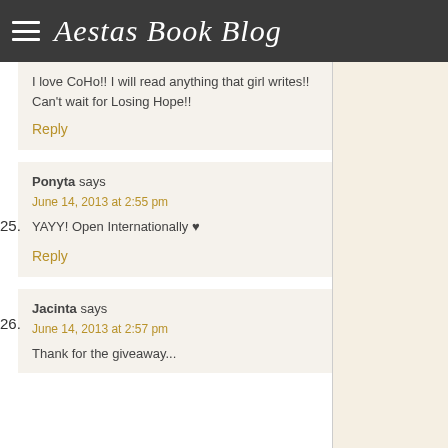Aestas Book Blog
I love CoHo!! I will read anything that girl writes!! Can't wait for Losing Hope!!
Reply
25. Ponyta says
June 14, 2013 at 2:55 pm
YAYY! Open Internationally ♥
Reply
26. Jacinta says
June 14, 2013 at 2:57 pm
Thank for the giveaway...